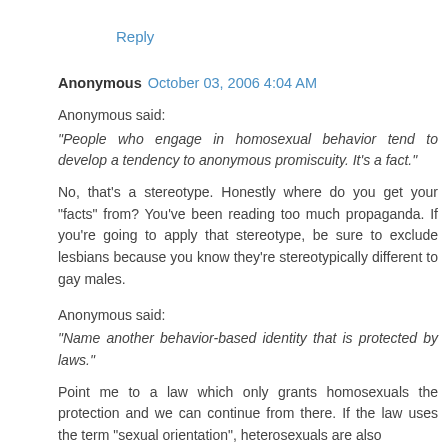Reply
Anonymous  October 03, 2006 4:04 AM
Anonymous said:
"People who engage in homosexual behavior tend to develop a tendency to anonymous promiscuity. It's a fact."

No, that's a stereotype. Honestly where do you get your "facts" from? You've been reading too much propaganda. If you're going to apply that stereotype, be sure to exclude lesbians because you know they're stereotypically different to gay males.

Anonymous said:
"Name another behavior-based identity that is protected by laws."

Point me to a law which only grants homosexuals the protection and we can continue from there. If the law uses the term "sexual orientation", heterosexuals are also included because a heterosexual is also an orientation.